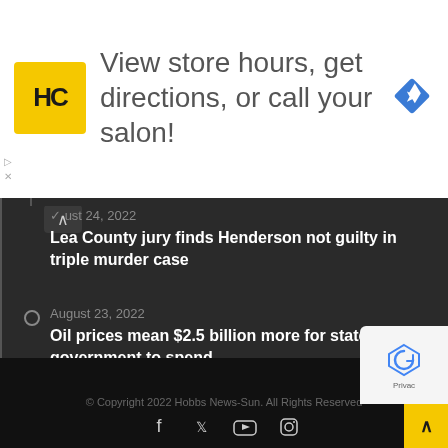[Figure (infographic): Advertisement banner with HC logo (yellow background, black text), text 'View store hours, get directions, or call your salon!', and a blue navigation diamond icon on the right.]
August 24, 2022 — Lea County jury finds Henderson not guilty in triple murder case
August 23, 2022 — Oil prices mean $2.5 billion more for state government to spend
© Copyright 2022 Hobbs News-Sun. All Rights Reserved